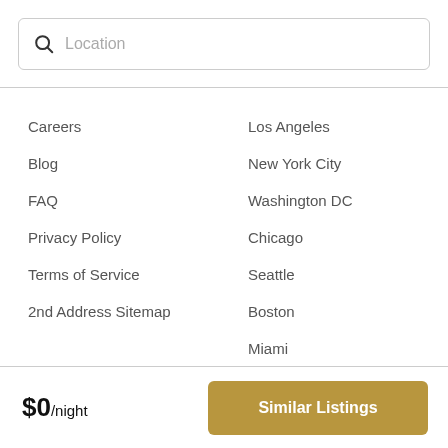Location
Careers
Blog
FAQ
Privacy Policy
Terms of Service
2nd Address Sitemap
Los Angeles
New York City
Washington DC
Chicago
Seattle
Boston
Miami
All Markets
$0/night
Similar Listings